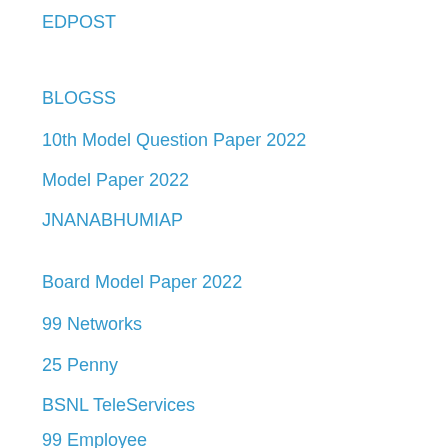EDPOST
BLOGSS
10th Model Question Paper 2022
Model Paper 2022
JNANABHUMIAP
Board Model Paper 2022
99 Networks
25 Penny
BSNL TeleServices
99 Employee